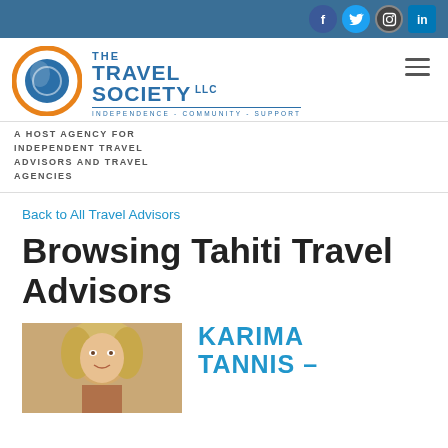Social icons: Facebook, Twitter, Instagram, LinkedIn
[Figure (logo): The Travel Society LLC logo with circular globe icon and tagline INDEPENDENCE - COMMUNITY - SUPPORT]
A HOST AGENCY FOR INDEPENDENT TRAVEL ADVISORS AND TRAVEL AGENCIES
Back to All Travel Advisors
Browsing Tahiti Travel Advisors
[Figure (photo): Photo of Karima Tannis, a woman with blonde curly hair]
KARIMA TANNIS –